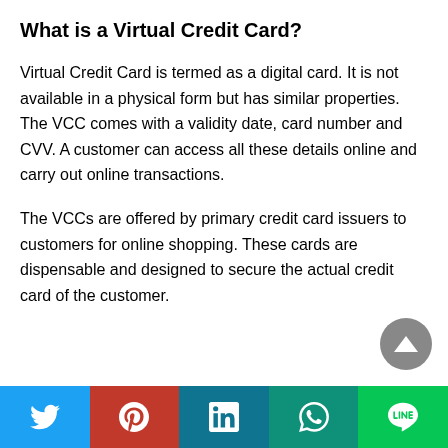What is a Virtual Credit Card?
Virtual Credit Card is termed as a digital card. It is not available in a physical form but has similar properties. The VCC comes with a validity date, card number and CVV. A customer can access all these details online and carry out online transactions.
The VCCs are offered by primary credit card issuers to customers for online shopping. These cards are dispensable and designed to secure the actual credit card of the customer.
[Figure (infographic): Social sharing bar with Twitter (blue), Pinterest (red), LinkedIn (teal), WhatsApp (green), and LINE (green) buttons]